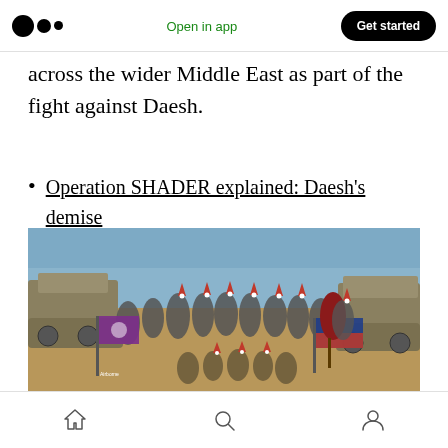Medium logo | Open in app | Get started
across the wider Middle East as part of the fight against Daesh.
Operation SHADER explained: Daesh's demise
[Figure (photo): Group photo of soldiers and military personnel in a desert setting, many wearing Santa hats and festive costumes, holding regimental flags including one reading 'Airborne', with military vehicles in the background and a clear blue sky.]
Home | Search | Profile